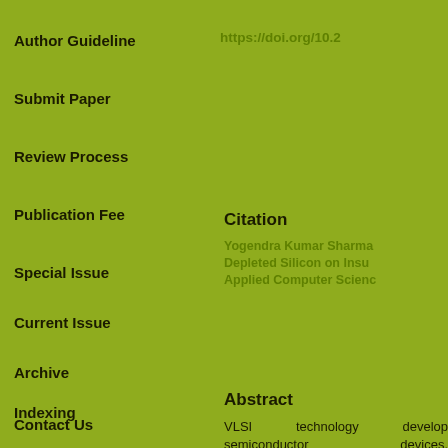Author Guideline
Submit Paper
Review Process
Publication Fee
Special Issue
Current Issue
Archive
Indexing
Contact Us
https://doi.org/10.2
Citation
Yogendra Kumar Sharma Depleted Silicon on Insu Applied Computer Scienc
Abstract
VLSI technology develop semiconductor devices, complementary metal-ox shorter channel length variability, and faster run